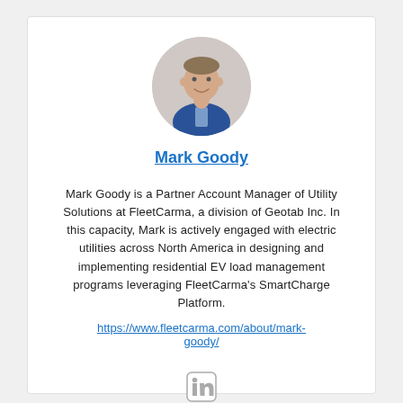[Figure (photo): Circular headshot photo of Mark Goody, a man in a blue blazer, smiling.]
Mark Goody
Mark Goody is a Partner Account Manager of Utility Solutions at FleetCarma, a division of Geotab Inc. In this capacity, Mark is actively engaged with electric utilities across North America in designing and implementing residential EV load management programs leveraging FleetCarma's SmartCharge Platform.
https://www.fleetcarma.com/about/mark-goody/
[Figure (logo): LinkedIn icon (in square)]